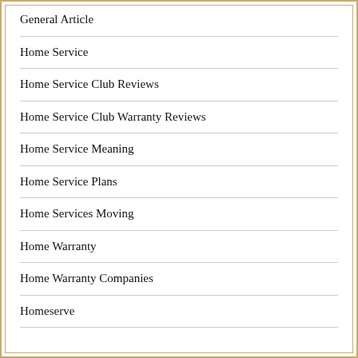General Article
Home Service
Home Service Club Reviews
Home Service Club Warranty Reviews
Home Service Meaning
Home Service Plans
Home Services Moving
Home Warranty
Home Warranty Companies
Homeserve